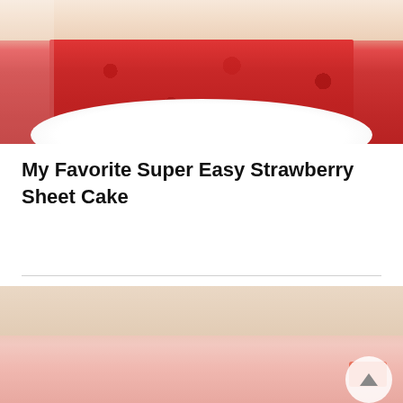[Figure (photo): Close-up photo of a slice of strawberry sheet cake on a white plate, showing pink/red cake interior with cream frosting on top]
My Favorite Super Easy Strawberry Sheet Cake
POPULAR CAKES
[Figure (photo): Partially visible photo of another cake, showing beige/cream colored background with pink elements at the bottom, with an orange scroll-to-top button overlay]